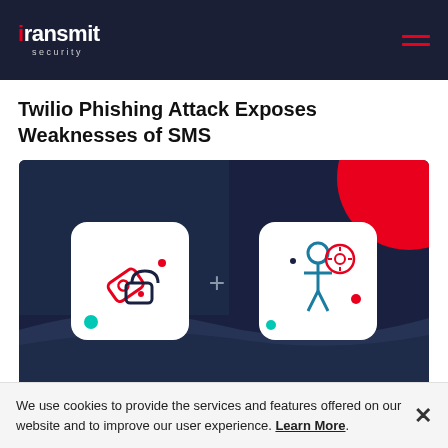Transmit Security
Twilio Phishing Attack Exposes Weaknesses of SMS
[Figure (illustration): Dark navy background with two white rounded-corner icon cards. Left card shows a broken padlock with a key and red ribbon icon. Right card shows a person figure with a gear/settings speech bubble icon. A plus sign sits between the two cards. Red circular blob in upper-right corner.]
No Compromise: Tradeoffs Between Security
We use cookies to provide the services and features offered on our website and to improve our user experience. Learn More.